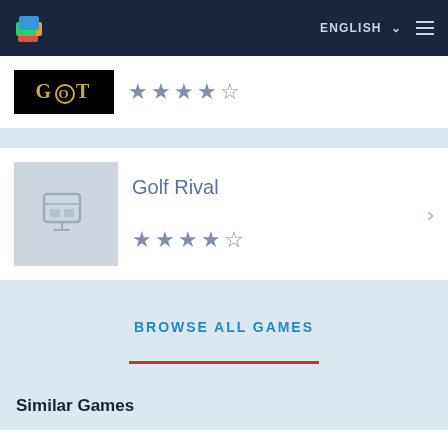BlueStacks — ENGLISH
[Figure (screenshot): Game of Thrones app icon with GOT logo and 4.5 star rating]
[Figure (screenshot): Golf Rival app icon placeholder with Golf Rival title and 4.5 star rating and chevron arrow]
BROWSE ALL GAMES
Similar Games